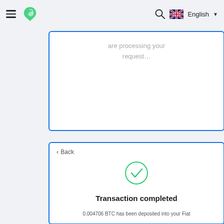Menu | Logo | Search | English
are processing your request...
[Figure (screenshot): Second card showing transaction completed with green checkmark circle, bold title 'Transaction completed', and sub-text '0.004706 BTC has been deposited into your Fiat']
< Back
Transaction completed
0.004706 BTC has been deposited into your Fiat